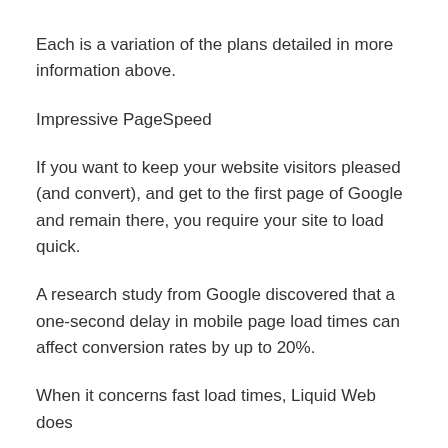Each is a variation of the plans detailed in more information above.
Impressive PageSpeed
If you want to keep your website visitors pleased (and convert), and get to the first page of Google and remain there, you require your site to load quick.
A research study from Google discovered that a one-second delay in mobile page load times can affect conversion rates by up to 20%.
When it concerns fast load times, Liquid Web does